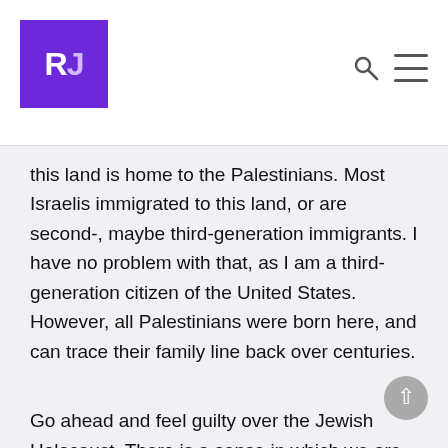[Figure (logo): RJ logo in purple square with white bold letters R and J]
this land is home to the Palestinians. Most Israelis immigrated to this land, or are second-, maybe third-generation immigrants. I have no problem with that, as I am a third-generation citizen of the United States. However, all Palestinians were born here, and can trace their family line back over centuries.
Go ahead and feel guilty over the Jewish Holocaust. There is a sense in which we are all to blame. It was painful to see the role the church played in the Holocaust. It was painful to note that, when Jews were looking